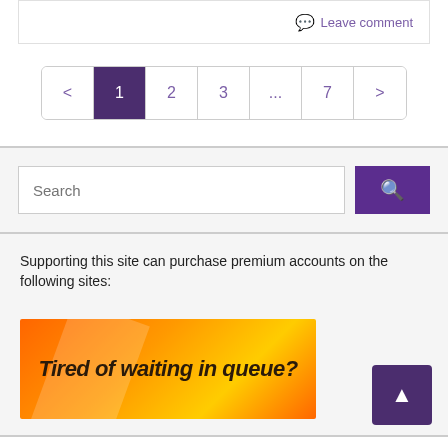Leave comment
[Figure (screenshot): Pagination bar with page buttons: < 1 2 3 ... 7 >. Page 1 is highlighted in dark purple.]
[Figure (screenshot): Search bar with text input placeholder 'Search' and a purple search button with magnifier icon.]
Supporting this site can purchase premium accounts on the following sites:
[Figure (illustration): Orange gradient banner with bold italic dark text reading 'Tired of waiting in queue?']